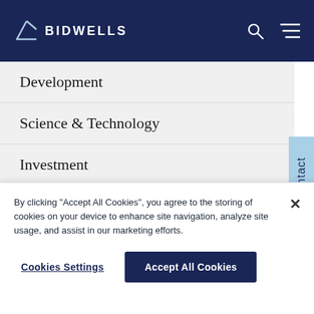BIDWELLS
Development
Science & Technology
Investment
Oxford & Cambridge Colleges
Land & Estates
Contact
By clicking "Accept All Cookies", you agree to the storing of cookies on your device to enhance site navigation, analyze site usage, and assist in our marketing efforts.
Cookies Settings
Accept All Cookies